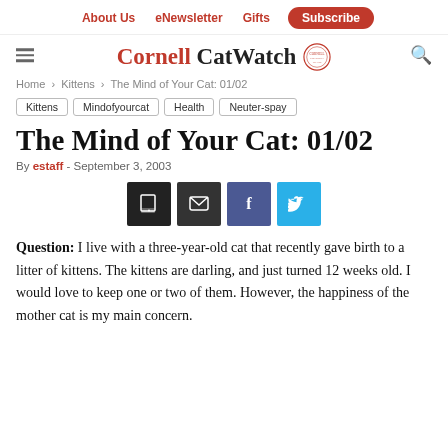About Us   eNewsletter   Gifts   Subscribe
[Figure (logo): Cornell CatWatch logo with Cornell seal]
Home › Kittens › The Mind of Your Cat: 01/02
Kittens
Mindofyourcat
Health
Neuter-spay
The Mind of Your Cat: 01/02
By estaff - September 3, 2003
[Figure (infographic): Share buttons: print, email, Facebook, Twitter]
Question: I live with a three-year-old cat that recently gave birth to a litter of kittens. The kittens are darling, and just turned 12 weeks old. I would love to keep one or two of them. However, the happiness of the mother cat is my main concern.